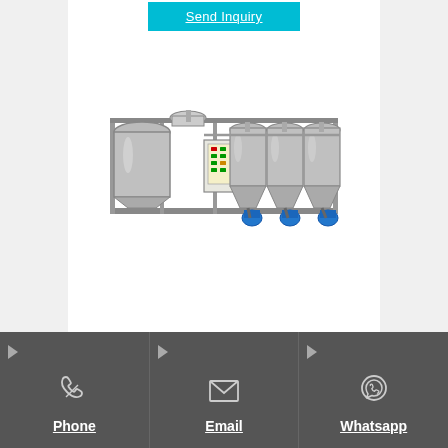[Figure (other): Cyan 'Send Inquiry' button at top center of white panel]
[Figure (photo): Industrial oil refinery or chemical processing machinery — multiple stainless steel tanks/vessels on a metal frame with pumps and piping]
Rosneft’s Syzran Refinery begins green marine fuel production in
[Figure (infographic): Footer bar with three columns: Phone (phone handset icon), Email (envelope icon), Whatsapp (WhatsApp icon), each with a right-arrow indicator and white underlined label text on dark grey background]